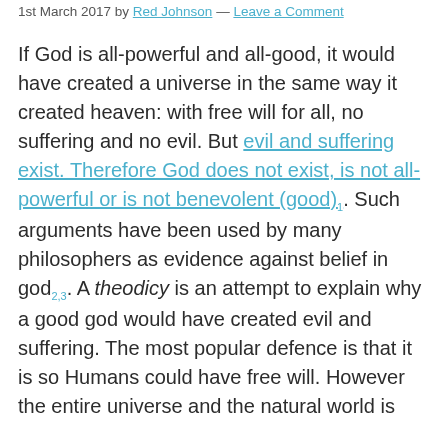1st March 2017 by Red Johnson — Leave a Comment
If God is all-powerful and all-good, it would have created a universe in the same way it created heaven: with free will for all, no suffering and no evil. But evil and suffering exist. Therefore God does not exist, is not all-powerful or is not benevolent (good)1. Such arguments have been used by many philosophers as evidence against belief in god2,3. A theodicy is an attempt to explain why a good god would have created evil and suffering. The most popular defence is that it is so Humans could have free will. However the entire universe and the natural world is